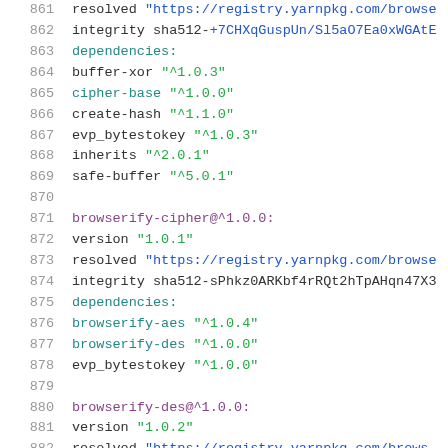[Figure (screenshot): Code/configuration file screenshot showing yarn.lock dependency entries for browserify-aes, browserify-cipher, and browserify-des packages with line numbers 861-882]